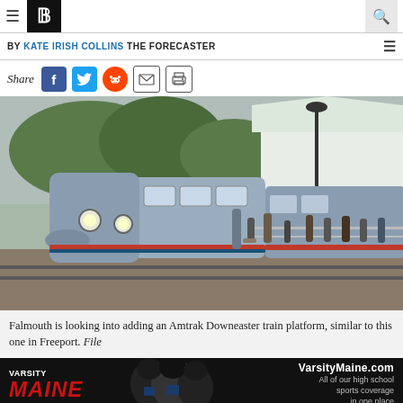P — Portland Press Herald
BY KATE IRISH COLLINS THE FORECASTER
[Figure (other): Share icons: Facebook, Twitter, Reddit, Email, Print]
[Figure (photo): Amtrak Downeaster train at Freeport station platform with passengers waiting, station canopy visible on right]
Falmouth is looking into adding an Amtrak Downeaster train platform, similar to this one in Freeport. File
[Figure (infographic): VarsityMaine.com advertisement banner: All of our high school sports coverage in one place]